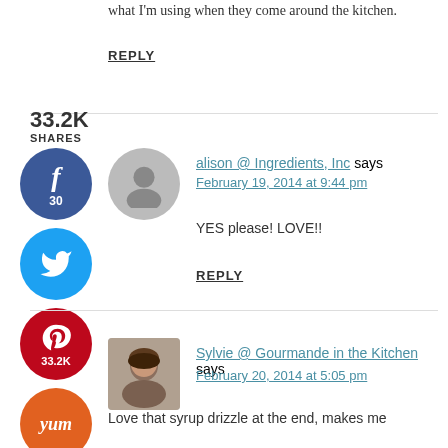what I'm using when they come around the kitchen.
REPLY
33.2K
SHARES
[Figure (infographic): Facebook share button circle, dark blue, with 'f' icon and count 30]
[Figure (infographic): Twitter share button circle, light blue, with bird icon]
[Figure (infographic): Pinterest share button circle, red, with P icon and count 33.2K]
[Figure (infographic): Yummly share button circle, orange, with 'yum' text]
[Figure (photo): Gray silhouette avatar placeholder for commenter alison]
alison @ Ingredients, Inc says
February 19, 2014 at 9:44 pm
YES please! LOVE!!
REPLY
[Figure (photo): Profile photo of Sylvie, a woman with dark hair]
Sylvie @ Gourmande in the Kitchen says
February 20, 2014 at 5:05 pm
Love that syrup drizzle at the end, makes me